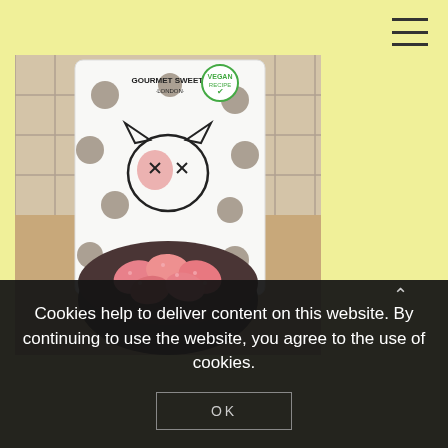[Figure (photo): A bag of Gourmet Sweets London vegan recipe sweets (white bag with dark polka dots and a cat face design), with pink candy pieces in a dark bowl in the foreground, on a wooden surface.]
Cookies help to deliver content on this website. By continuing to use the website, you agree to the use of cookies.
OK